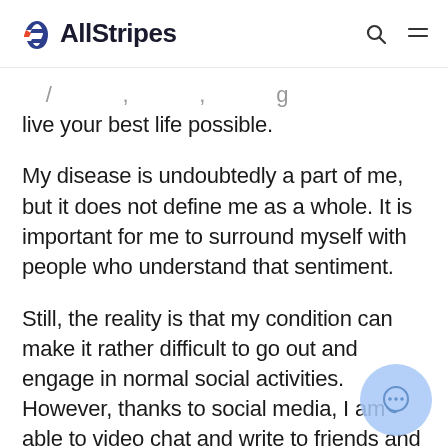AllStripes
live your best life possible.
My disease is undoubtedly a part of me, but it does not define me as a whole. It is important for me to surround myself with people who understand that sentiment.
Still, the reality is that my condition can make it rather difficult to go out and engage in normal social activities. However, thanks to social media, I am able to video chat and write to friends and family with great ea… My friends understand that it can be ha… me to even meander my way down the